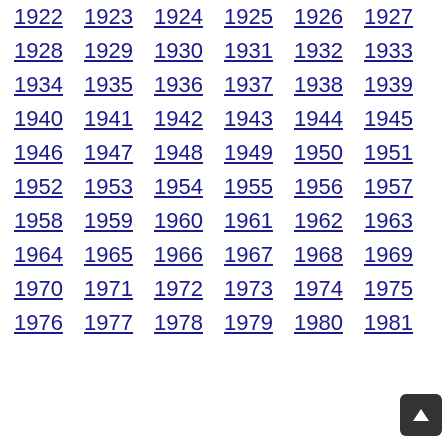1922 1923 1924 1925 1926 1927
1928 1929 1930 1931 1932 1933
1934 1935 1936 1937 1938 1939
1940 1941 1942 1943 1944 1945
1946 1947 1948 1949 1950 1951
1952 1953 1954 1955 1956 1957
1958 1959 1960 1961 1962 1963
1964 1965 1966 1967 1968 1969
1970 1971 1972 1973 1974 1975
1976 1977 1978 1979 1980 1981